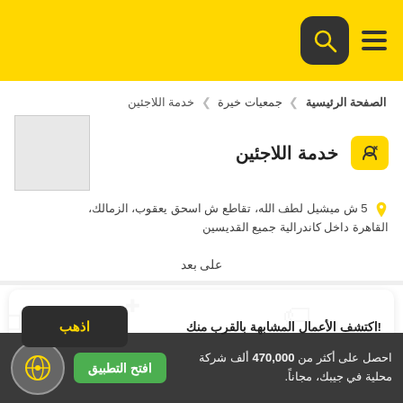خدمة اللاجئين
الصفحة الرئيسية ❯ جمعيات خيرة ❯ خدمة اللاجئين
خدمة اللاجئين
5 ش ميشيل لطف الله، تقاطع ش اسحق يعقوب، الزمالك، القاهرة داخل كاندرالية جميع القديسين
على بعد
اكتشف الأعمال المشابهة بالقرب منك! اذهب
احصل على أكثر من 470,000 ألف شركة محلية في جيبك، مجاناً. افتح التطبيق